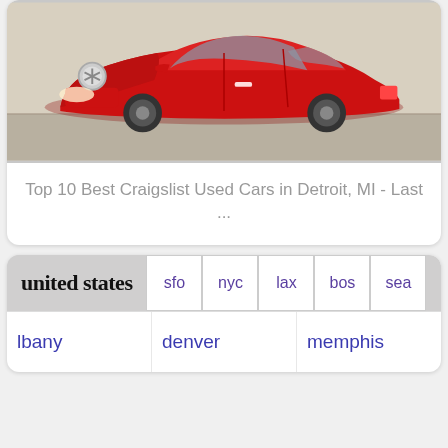[Figure (photo): Red Mercedes-Benz CLA coupe parked outdoors, front three-quarter view]
Top 10 Best Craigslist Used Cars in Detroit, MI - Last ...
[Figure (screenshot): Craigslist website header showing 'united states' with city abbreviations: sfo, nyc, lax, bos, sea, and city links: lbany, denver, memphis]